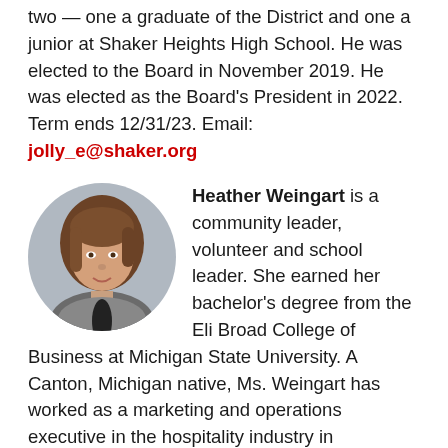two — one a graduate of the District and one a junior at Shaker Heights High School. He was elected to the Board in November 2019. He was elected as the Board's President in 2022. Term ends 12/31/23. Email: jolly_e@shaker.org
[Figure (photo): Circular headshot photo of Heather Weingart, a woman with shoulder-length brown hair, wearing a patterned jacket, smiling]
Heather Weingart is a community leader, volunteer and school leader. She earned her bachelor's degree from the Eli Broad College of Business at Michigan State University. A Canton, Michigan native, Ms. Weingart has worked as a marketing and operations executive in the hospitality industry in Cleveland, Chicago and Greenville, S.C. Since moving to Shaker Heights in 2006, she has chaired the successful 2017 Shaker Heights Schools $30M levy campaign and the 2015 Night for the Red & White.